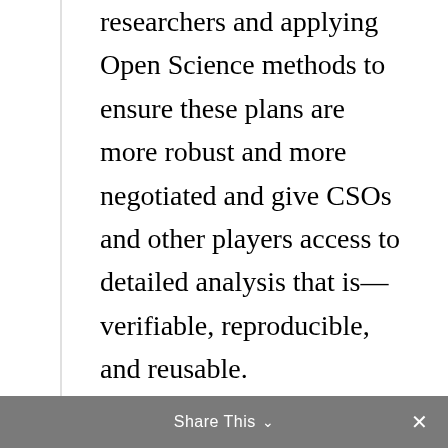researchers and applying Open Science methods to ensure these plans are more robust and more negotiated and give CSOs and other players access to detailed analysis that is—verifiable, reproducible, and reusable.
This new community has emerged from the 'openmod initiative', to-date a predominantly European and German open energy modelling community comprised of researchers from industry, research institutes, and the interested public. Openmod has pioneered Open Science practices in the field of energy modelling, created a community and open collaborative
Share This ∨  ✕